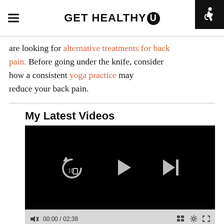GET HEALTHY U
are looking for alternative treatments for back pain. Before going under the knife, consider how a consistent yoga practice may reduce your back pain.
My Latest Videos
[Figure (screenshot): Embedded video player with black background showing playback controls: replay 10 seconds button, play button, and skip-to-next button. Below the player is a control bar showing 00:00 / 02:38 timestamp, grid/chapters icon, settings icon, and fullscreen icon.]